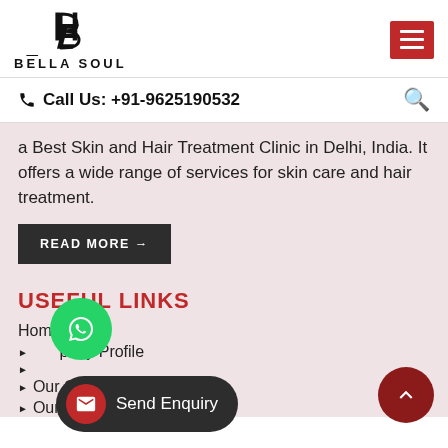[Figure (logo): Bella Soul logo with stylized B icon and text BELLA SOUL]
[Figure (other): Red hamburger menu button]
Call Us: +91-9625190532
a Best Skin and Hair Treatment Clinic in Delhi, India. It offers a wide range of services for skin care and hair treatment.
READ MORE →
USEFUL LINKS
Home
Company Profile
Our Gallery
Our Doctor
[Figure (other): WhatsApp floating button (green circle)]
[Figure (other): Send Enquiry dark pill button with mail icon]
[Figure (other): Scroll to top dark red circular button with up arrow]